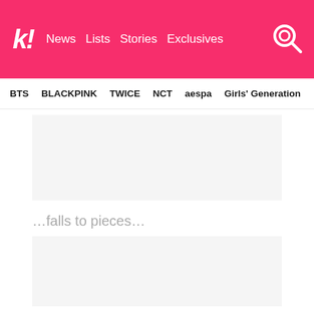k! News Lists Stories Exclusives
BTS BLACKPINK TWICE NCT aespa Girls' Generation
[Figure (other): Advertisement placeholder box, light gray background]
…falls to pieces…
[Figure (other): Advertisement placeholder box, light gray background]